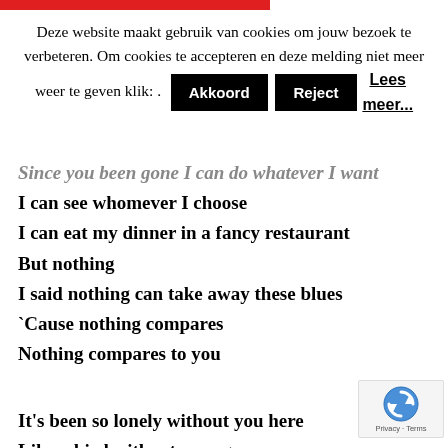[Figure (other): Red horizontal bar at top of page]
Deze website maakt gebruik van cookies om jouw bezoek te verbeteren. Om cookies te accepteren en deze melding niet meer weer te geven klik: .  Akkoord  Reject  Lees meer...
Since you been gone I can do whatever I want
I can see whomever I choose
I can eat my dinner in a fancy restaurant
But nothing
I said nothing can take away these blues
`Cause nothing compares
Nothing compares to you
It's been so lonely without you here
Like a bird without a song
Nothing compares to you (partial, cut off)